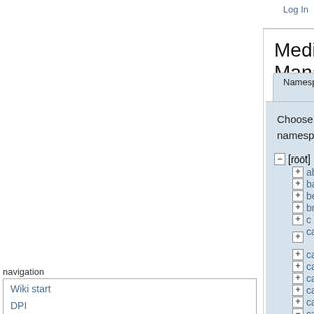Log In
article | discussion | show pagesource
Media Manager
Namespaces
Media Files
Upload
Choose namespace
Files in ser212
Thumbnails
navigation
Wiki start
DPI
search
[root]
abcc
baseimagens
belmontforum
bruna_neves
c
cap-378-topicos
cap236
cap241
cap349_2009
cap349_2012
cap378
cap399
[Figure (screenshot): PDF file icon for 18_-_diss_2... dated 2009/07/13 13:32, size 18.4 MB]
18_-_diss_2...
2009/07/13 13:32
18.4 MB
anali...